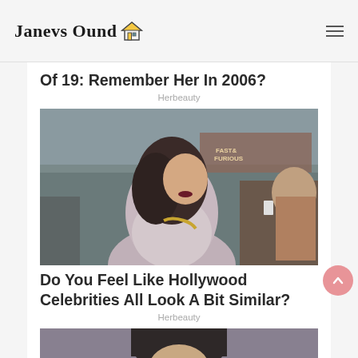Janevs Ound
Of 19: Remember Her In 2006?
Herbeauty
[Figure (photo): A woman with dark curly hair wearing a backless grey dress and gold necklace at a Fast & Furious movie premiere, fans in the background]
Do You Feel Like Hollywood Celebrities All Look A Bit Similar?
Herbeauty
[Figure (photo): Partial view of a person with dark hair, cropped at top of frame]